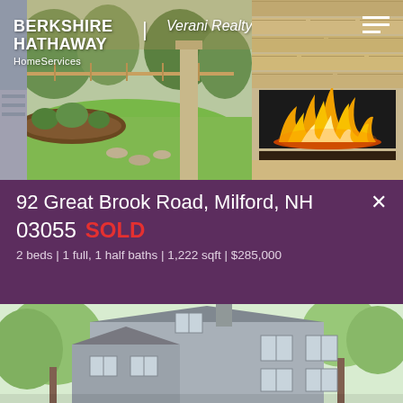[Figure (photo): Two property photos side by side: left shows outdoor patio/yard with landscaping and a covered porch with wooden pillar; right shows a modern interior stone fireplace with flames. Berkshire Hathaway HomeServices Verani Realty logo overlaid on left photo.]
92 Great Brook Road, Milford, NH 03055 SOLD
2 beds | 1 full, 1 half baths | 1,222 sqft | $285,000
[Figure (photo): Exterior photo of a two-story gray/blue colonial-style house with trees in background.]